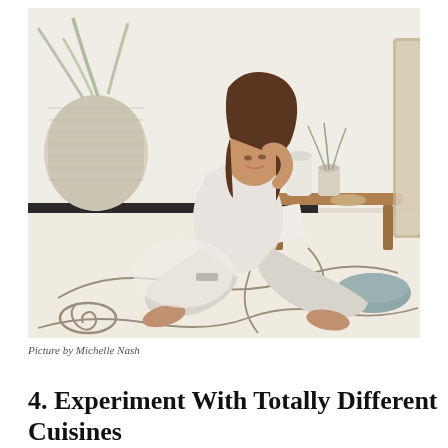[Figure (photo): A woman with brown hair sits cross-legged on a decorative abstract-patterned cream rug on the floor. She is wearing a light gray sleeveless top and white/light gray pants, writing in a notebook. Behind her is a wooden side table with ceramic vases and dried plants, a large woven basket vase with palm leaves, and a gray floor cushion to the right. The setting is a bright, modern, minimalist living space.]
Picture by Michelle Nash
4. Experiment With Totally Different Cuisines